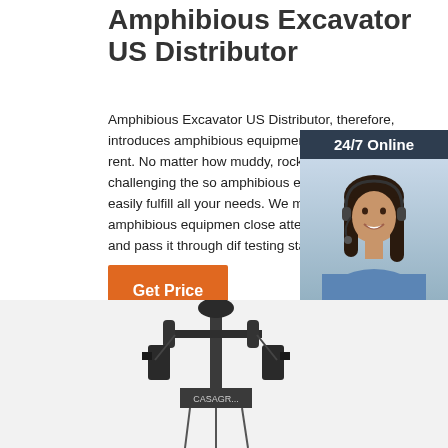Amphibious Excavator US Distributor
Amphibious Excavator US Distributor, therefore, introduces amphibious equipment for sale and rent. No matter how muddy, rocky, or challenging the so amphibious excavator can easily fulfill all your needs. We manufacture amphibious equipmen close attention to detail and pass it through dif testing stages.
[Figure (illustration): Customer service representative with headset, 24/7 Online chat widget with dark blue background, photo of woman, and QUOTATION button]
Get Price
[Figure (photo): Bottom portion of an amphibious excavator machine, showing mechanical components and frame]